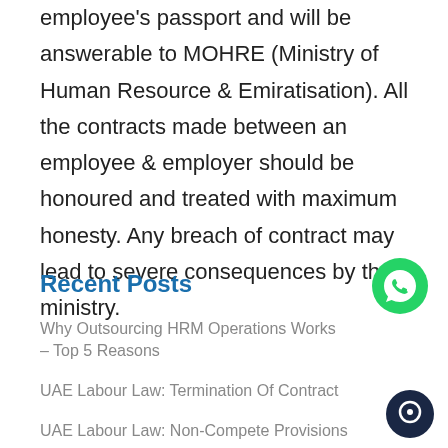employee's passport and will be answerable to MOHRE (Ministry of Human Resource & Emiratisation). All the contracts made between an employee & employer should be honoured and treated with maximum honesty. Any breach of contract may lead to severe consequences by the ministry.
Recent Posts
Why Outsourcing HRM Operations Works – Top 5 Reasons
UAE Labour Law: Termination Of Contract
UAE Labour Law: Non-Compete Provisions